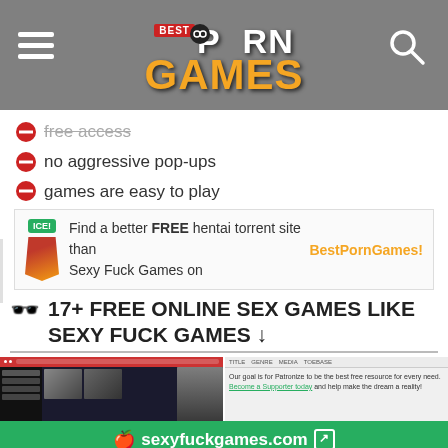Best Porn Games
free access (strikethrough)
no aggressive pop-ups
games are easy to play
[Figure (screenshot): Advertisement banner: ICE! badge, flame logo, text 'Find a better FREE hentai torrent site than Sexy Fuck Games on BestPornGames!']
17+ FREE ONLINE SEX GAMES LIKE SEXY FUCK GAMES ↓
[Figure (screenshot): Preview thumbnails of sexyfuckgames.com website]
sexyfuckgames.com
631+ Best Porn Games
17+ Free Online Sex Games